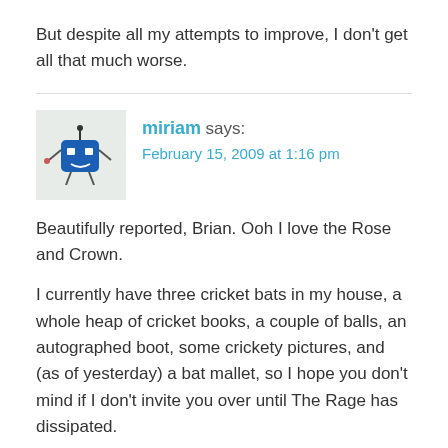But despite all my attempts to improve, I don't get all that much worse.
[Figure (illustration): Avatar illustration of a blue cartoon robot/character with eyes and arms, on a light grey-green background]
miriam says:
February 15, 2009 at 1:16 pm
Beautifully reported, Brian. Ooh I love the Rose and Crown.
I currently have three cricket bats in my house, a whole heap of cricket books, a couple of balls, an autographed boot, some crickety pictures, and (as of yesterday) a bat mallet, so I hope you don't mind if I don't invite you over until The Rage has dissipated.